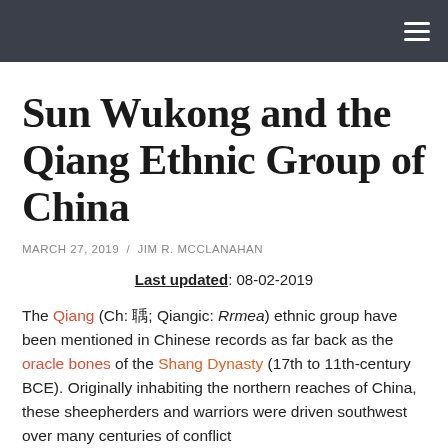☰
Sun Wukong and the Qiang Ethnic Group of China
MARCH 27, 2019 / JIM R. MCCLANAHAN
Last updated: 08-02-2019
The Qiang (Ch: 羌; Qiangic: Rrmea) ethnic group have been mentioned in Chinese records as far back as the oracle bones of the Shang Dynasty (17th to 11th-century BCE). Originally inhabiting the northern reaches of China, these sheepherders and warriors were driven southwest over many centuries of conflict